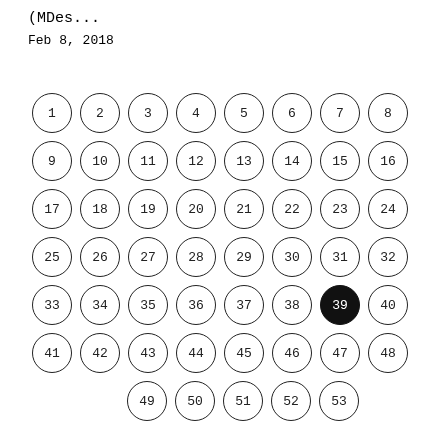(MDes...
Feb 8, 2018
[Figure (infographic): Grid of 53 numbered circles (1–53), each with a thin circular border. Circle 39 is filled solid black with white text. The circles are arranged in 6 rows of 8 and a final row of 5 centered.]